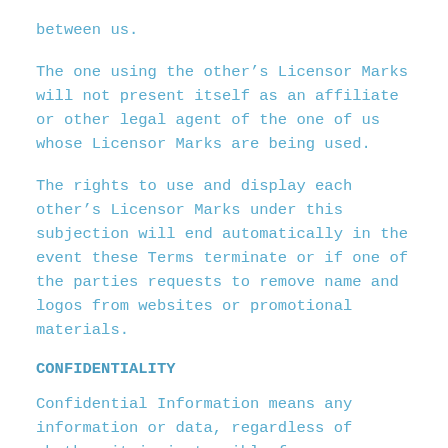between us.
The one using the other’s Licensor Marks will not present itself as an affiliate or other legal agent of the one of us whose Licensor Marks are being used.
The rights to use and display each other’s Licensor Marks under this subjection will end automatically in the event these Terms terminate or if one of the parties requests to remove name and logos from websites or promotional materials.
CONFIDENTIALITY
Confidential Information means any information or data, regardless of whether it is in tangible form, disclosed by either party that is marked or otherwise designated as confidential or proprietary or that